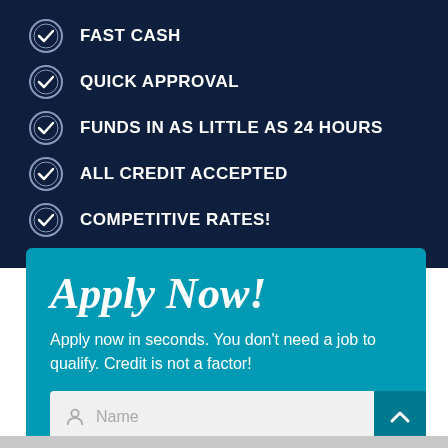FAST CASH
QUICK APPROVAL
FUNDS IN AS LITTLE AS 24 HOURS
ALL CREDIT ACCEPTED
COMPETITIVE RATES!
Apply Now!
Apply now in seconds. You don't need a job to qualify. Credit is not a factor!